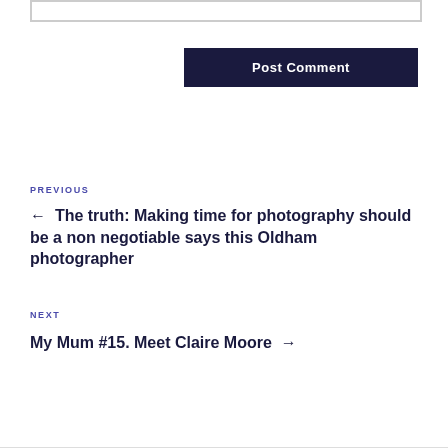[input box]
Post Comment
PREVIOUS
← The truth: Making time for photography should be a non negotiable says this Oldham photographer
NEXT
My Mum #15. Meet Claire Moore →